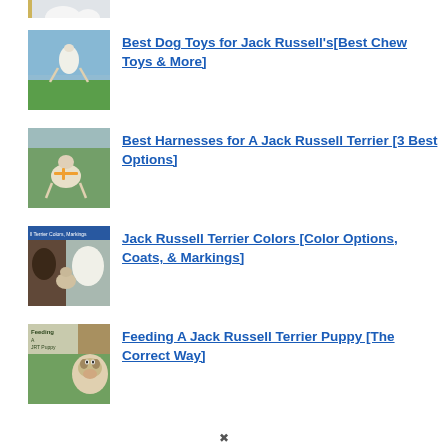[Figure (photo): Partial dog image at top (cropped), white dog on white background]
Best Dog Toys for Jack Russell's[Best Chew Toys & More]
Best Harnesses for A Jack Russell Terrier [3 Best Options]
Jack Russell Terrier Colors [Color Options, Coats, & Markings]
Feeding A Jack Russell Terrier Puppy [The Correct Way]